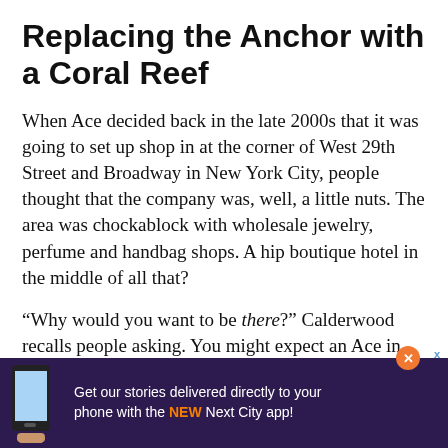Replacing the Anchor with a Coral Reef
When Ace decided back in the late 2000s that it was going to set up shop in at the corner of West 29th Street and Broadway in New York City, people thought that the company was, well, a little nuts. The area was chockablock with wholesale jewelry, perfume and handbag shops. A hip boutique hotel in the middle of all that?
“Why would you want to be there?” Calderwood recalls people asking. You might expect an Ace in Soho. Or the Lower East Side. Or even DUMBO. But just south of Koreatown? “Looking at it with child’s eyes,” says Calderwood, “it actually kind of makes a lot of
[Figure (other): Advertisement banner: purple background with phone image and text 'Get our stories delivered directly to your phone with the NEW Next City app!']